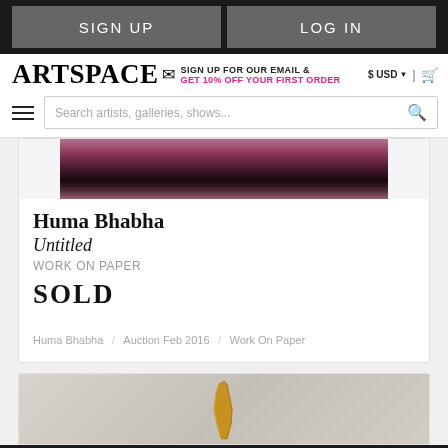SIGN UP | LOG IN
ARTSPACE
SIGN UP FOR OUR EMAIL & GET 10% OFF YOUR FIRST ORDER
$ USD | cart
Search artists, galleries, shows...
[Figure (photo): Partial view of an artwork with dark purple/maroon tones at the top of listing card]
Huma Bhabha
Untitled
WORK ON PAPER
SOLD
Huma Bhabha / Auction Feb 2016 / Work On Paper
[Figure (photo): Partial view of a second artwork listing card showing a golden/amber colored sculpture on grey background]